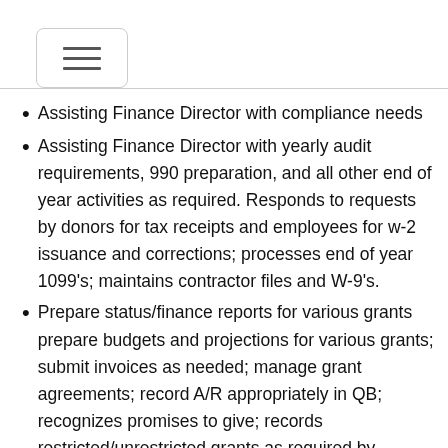[Figure (other): Hamburger menu icon inside a rounded rectangle border]
Assisting Finance Director with compliance needs
Assisting Finance Director with yearly audit requirements, 990 preparation, and all other end of year activities as required. Responds to requests by donors for tax receipts and employees for w-2 issuance and corrections; processes end of year 1099's; maintains contractor files and W-9's.
Prepare status/finance reports for various grants prepare budgets and projections for various grants; submit invoices as needed; manage grant agreements; record A/R appropriately in QB; recognizes promises to give; records restricted/unrestricted grants as required by